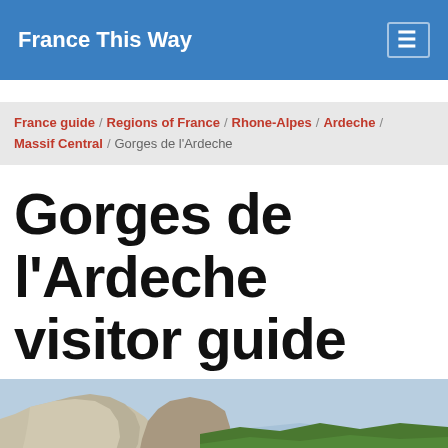France This Way
France guide / Regions of France / Rhone-Alpes / Ardeche / Massif Central / Gorges de l'Ardeche
Gorges de l'Ardeche visitor guide
[Figure (photo): Aerial or elevated view of the Gorges de l'Ardeche showing dramatic limestone cliffs and forested hillsides with distant blue mountains]